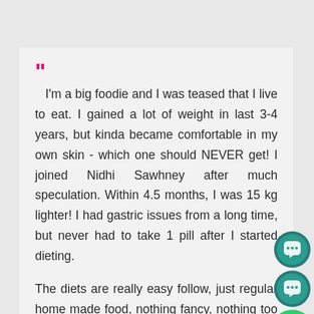" I'm a big foodie and I was teased that I live to eat. I gained a lot of weight in last 3-4 years, but kinda became comfortable in my own skin - which one should NEVER get! I joined Nidhi Sawhney after much speculation. Within 4.5 months, I was 15 kg lighter! I had gastric issues from a long time, but never had to take 1 pill after I started dieting.

The diets are really easy follow, just regular home made food, nothing fancy, nothing too difficult to prepare. She's friendly and gives you options when
[Figure (illustration): Three WhatsApp-style circular icons on the right side: two teal/dark chat icons stacked, and one bright green phone icon below them.]